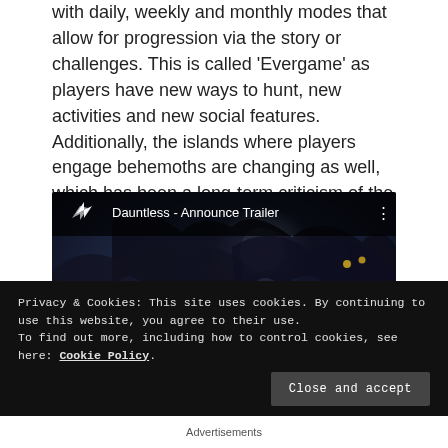with daily, weekly and monthly modes that allow for progression via the story or challenges. This is called 'Evergame' as players have new ways to hunt, new activities and new social features. Additionally, the islands where players engage behemoths are changing as well, which has been a long-term criticism of the game as islands were known to be drab and empty.
[Figure (screenshot): YouTube video embed showing 'Dauntless - Announce Trailer' with dark fantasy game imagery, a red YouTube play button in the center, the Dauntless logo (stylized white bird/wing icon) in the top-left, video title in white text, and three-dot menu icon on the right.]
Privacy & Cookies: This site uses cookies. By continuing to use this website, you agree to their use.
To find out more, including how to control cookies, see here: Cookie Policy.
Close and accept
Advertisements